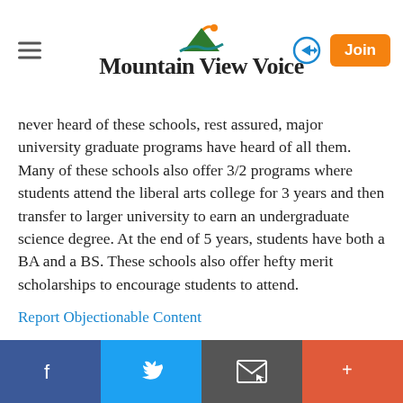Mountain View Voice
never heard of these schools, rest assured, major university graduate programs have heard of all them. Many of these schools also offer 3/2 programs where students attend the liberal arts college for 3 years and then transfer to larger university to earn an undergraduate science degree. At the end of 5 years, students have both a BA and a BS. These schools also offer hefty merit scholarships to encourage students to attend.
Report Objectionable Content
Posted by Bunyip, a resident of Adobe-Meadow, on Jul 27, 2015 at 11:10 pm
ALL u.s. Schools are substandard. Pay less tuition and